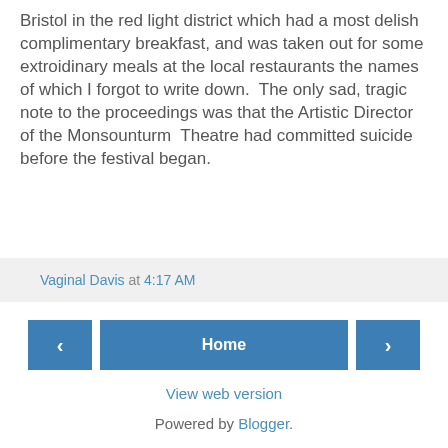Bristol in the red light district which had a most delish complimentary breakfast, and was taken out for some extroidinary meals at the local restaurants the names of which I forgot to write down.  The only sad, tragic note to the proceedings was that the Artistic Director of the Monsounturm  Theatre had committed suicide before the festival began.
Vaginal Davis at 4:17 AM
< Home >
View web version
Powered by Blogger.